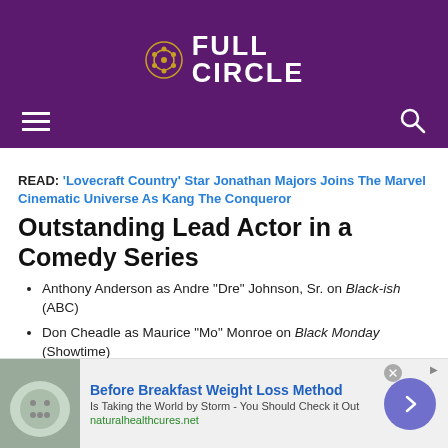[Figure (logo): Full Circle film magazine logo with film reel icon, white text on purple background]
READ: 'Lovecraft Country' Star Jonathan Majors Joins The Marvel Cinematic Universe As Kang The Conqueror
Outstanding Lead Actor in a Comedy Series
Anthony Anderson as Andre "Dre" Johnson, Sr. on Black-ish (ABC)
Don Cheadle as Maurice "Mo" Monroe on Black Monday (Showtime)
Ted Danson as Michael on The Good Place (NBC)
Michael Douglas as Sandy Kominsky on The Kominsky Method (Netflix)
[Figure (other): Advertisement banner: Before Breakfast Weight Loss Method - Is Taking the World by Storm - You Should Check it Out - naturalhealthcures.net]